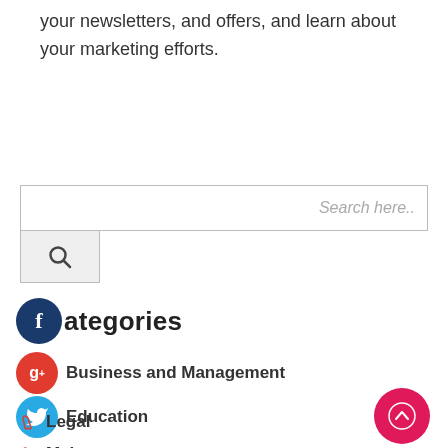your newsletters, and offers, and learn about your marketing efforts.
[Figure (screenshot): Search input box with placeholder 'Search here..' and a search button below with magnifying glass icon]
Categories
Business and Management
Education
Health and Fitness
Home and Garden
Legal
Main